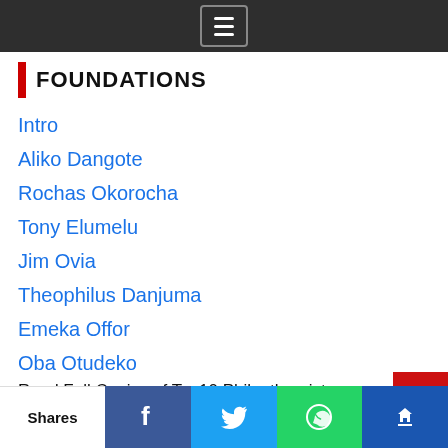[Navigation menu icon]
FOUNDATIONS
Intro
Aliko Dangote
Rochas Okorocha
Tony Elumelu
Jim Ovia
Theophilus Danjuma
Emeka Offor
Oba Otudeko
Folorunso Alakija
Muhammadu Indimi
Subomi Michael Balogun
Read Full Copies of Top10 Philanthropists Behind Nigeria Largest Private Foundations
Shares | Facebook | Twitter | WhatsApp | Crown